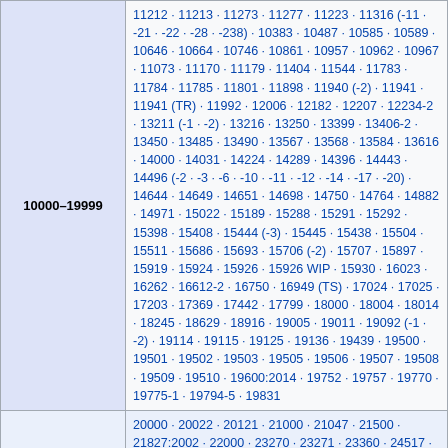| Range | Values |
| --- | --- |
| 10000–19999 | 11212 · 11213 · 11273 · 11277 · 11223 · 11316 (-11 · -21 · -22 · -28 · -238) · 10383 · 10487 · 10585 · 10589 · 10646 · 10664 · 10746 · 10861 · 10957 · 10962 · 10967 · 11073 · 11170 · 11179 · 11404 · 11544 · 11783 · 11784 · 11785 · 11801 · 11898 · 11940 (-2) · 11941 · 11941 (TR) · 11992 · 12006 · 12182 · 12207 · 12234-2 · 13211 (-1 · -2) · 13216 · 13250 · 13399 · 13406-2 · 13450 · 13485 · 13490 · 13567 · 13568 · 13584 · 13616 · 14000 · 14031 · 14224 · 14289 · 14396 · 14443 · 14496 (-2 · -3 · -6 · -10 · -11 · -12 · -14 · -17 · -20) · 14644 · 14649 · 14651 · 14698 · 14750 · 14764 · 14882 · 14971 · 15022 · 15189 · 15288 · 15291 · 15292 · 15398 · 15408 · 15444 (-3) · 15445 · 15438 · 15504 · 15511 · 15686 · 15693 · 15706 (-2) · 15707 · 15897 · 15919 · 15924 · 15926 · 15926 WIP · 15930 · 16023 · 16262 · 16612-2 · 16750 · 16949 (TS) · 17024 · 17025 · 17203 · 17369 · 17442 · 17799 · 18000 · 18004 · 18014 · 18245 · 18629 · 18916 · 19005 · 19011 · 19092 (-1 · -2) · 19114 · 19115 · 19125 · 19136 · 19439 · 19500 · 19501 · 19502 · 19503 · 19505 · 19506 · 19507 · 19508 · 19509 · 19510 · 19600:2014 · 19752 · 19757 · 19770 · 19775-1 · 19794-5 · 19831 |
|  | 20000 · 20022 · 20121 · 21000 · 21047 · 21500 · 21827:2002 · 22000 · 23270 · 23271 · 23360 · 24517 · 24613 · 24617 · 24707 · 25178 · 25964 · 26000 · 26300 |